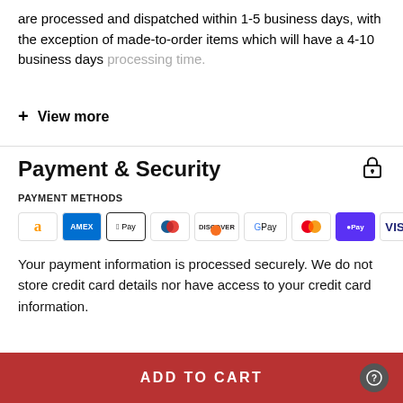are processed and dispatched within 1-5 business days, with the exception of made-to-order items which will have a 4-10 business days processing time.
+ View more
Payment & Security
PAYMENT METHODS
[Figure (logo): Payment method icons: Amazon, AMEX, Apple Pay, Diners Club, Discover, Google Pay, Mastercard, OPay, VISA]
Your payment information is processed securely. We do not store credit card details nor have access to your credit card information.
ADD TO CART